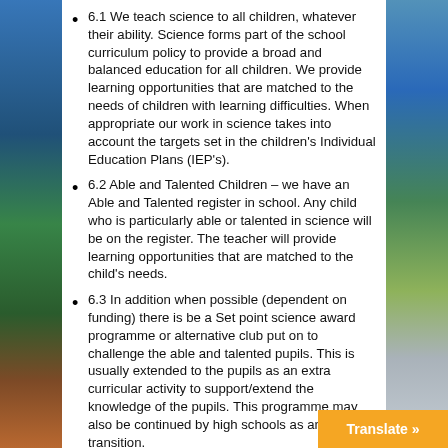6.1 We teach science to all children, whatever their ability. Science forms part of the school curriculum policy to provide a broad and balanced education for all children. We provide learning opportunities that are matched to the needs of children with learning difficulties. When appropriate our work in science takes into account the targets set in the children's Individual Education Plans (IEP's).
6.2 Able and Talented Children – we have an Able and Talented register in school. Any child who is particularly able or talented in science will be on the register. The teacher will provide learning opportunities that are matched to the child's needs.
6.3 In addition when possible (dependent on funding) there is be a Set point science award programme or alternative club put on to challenge the able and talented pupils. This is usually extended to the pupils as an extra curricular activity to support/extend the knowledge of the pupils. This programme may also be continued by high schools as an aid to transition.